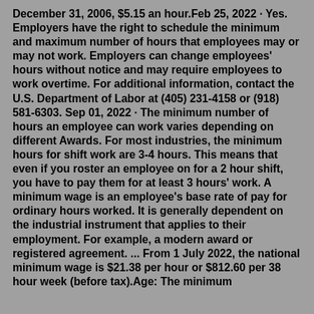December 31, 2006, $5.15 an hour.Feb 25, 2022 · Yes. Employers have the right to schedule the minimum and maximum number of hours that employees may or may not work. Employers can change employees' hours without notice and may require employees to work overtime. For additional information, contact the U.S. Department of Labor at (405) 231-4158 or (918) 581-6303. Sep 01, 2022 · The minimum number of hours an employee can work varies depending on different Awards. For most industries, the minimum hours for shift work are 3-4 hours. This means that even if you roster an employee on for a 2 hour shift, you have to pay them for at least 3 hours' work. A minimum wage is an employee's base rate of pay for ordinary hours worked. It is generally dependent on the industrial instrument that applies to their employment. For example, a modern award or registered agreement. ... From 1 July 2022, the national minimum wage is $21.38 per hour or $812.60 per 38 hour week (before tax).Age: The minimum